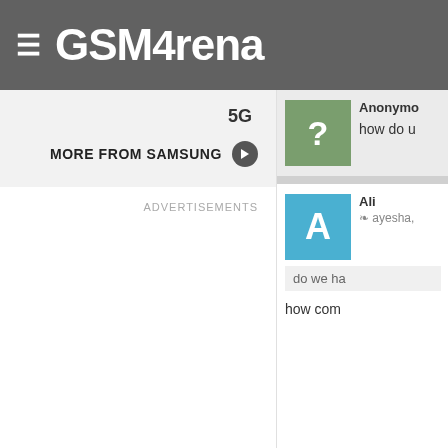GSMArena
5G
MORE FROM SAMSUNG →
ADVERTISEMENTS
Anonymous
how do u
Ali
↳ ayesha,
do we ha
how com